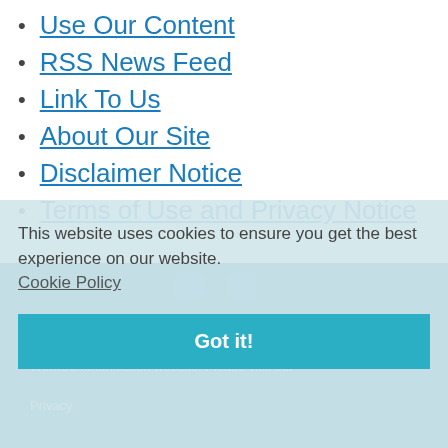Use Our Content
RSS News Feed
Link To Us
About Our Site
Disclaimer Notice
Terms of Use and Privacy Notice
This website uses cookies to ensure you get the best experience on our website. Cookie Policy
Got it!